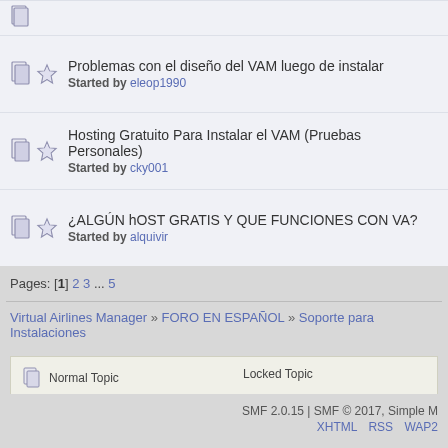Problemas con el diseño del VAM luego de instalar - Started by eleop1990
Hosting Gratuito Para Instalar el VAM (Pruebas Personales) - Started by cky001
¿ALGÚN hOST GRATIS Y QUE FUNCIONES CON VA? - Started by alquivir
Pages: [1] 2 3 ... 5
Virtual Airlines Manager » FORO EN ESPAÑOL » Soporte para Instalaciones
Normal Topic | Locked Topic | Hot Topic (More than 15 replies) | Sticky Topic | Very Hot Topic (More than 25 replies)
SMF 2.0.15 | SMF © 2017, Simple M   XHTML  RSS  WAP2